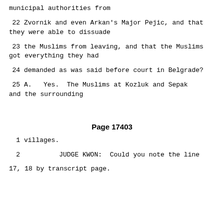municipal authorities from
22     Zvornik and even Arkan's Major Pejic, and that they were able to dissuade
23     the Muslims from leaving, and that the Muslims got everything they had
24     demanded as was said before court in Belgrade?
25     A.   Yes.  The Muslims at Kozluk and Sepak and the surrounding
Page 17403
1      villages.
2              JUDGE KWON:  Could you note the line
17, 18 by transcript page.